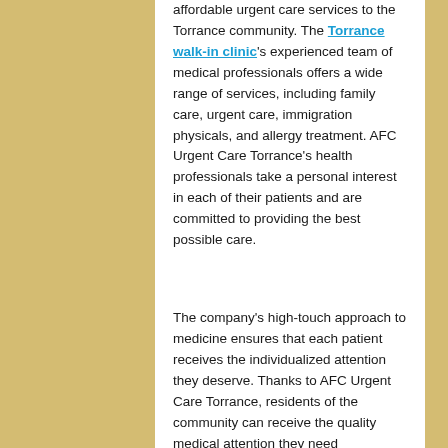affordable urgent care services to the Torrance community. The Torrance walk-in clinic's experienced team of medical professionals offers a wide range of services, including family care, urgent care, immigration physicals, and allergy treatment. AFC Urgent Care Torrance's health professionals take a personal interest in each of their patients and are committed to providing the best possible care.
The company's high-touch approach to medicine ensures that each patient receives the individualized attention they deserve. Thanks to AFC Urgent Care Torrance, residents of the community can receive the quality medical attention they need